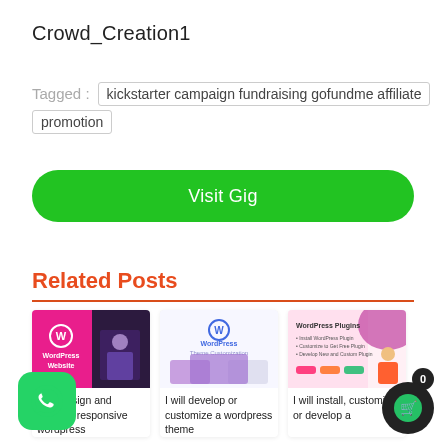Crowd_Creation1
Tagged : kickstarter campaign fundraising gofundme affiliate promotion
Visit Gig
Related Posts
[Figure (screenshot): WordPress Website card image - pink/dark themed with WordPress logo]
I will design and develop responsive wordpress
[Figure (screenshot): WordPress Theme Customization card image - light themed with WordPress logo]
I will develop or customize a wordpress theme
[Figure (screenshot): WordPress Plugins card image - pink/orange themed with plugin list]
I will install, customize or develop a